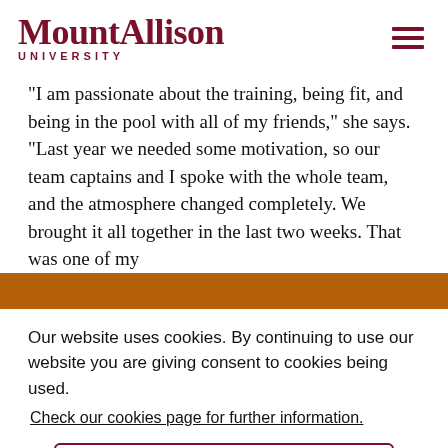[Figure (logo): Mount Allison University logo with stylized text and crest icon]
“I am passionate about the training, being fit, and being in the pool with all of my friends,” she says. "Last year we needed some motivation, so our team captains and I spoke with the whole team, and the atmosphere changed completely. We brought it all together in the last two weeks. That was one of my
Our website uses cookies. By continuing to use our website you are giving consent to cookies being used.
Check our cookies page for further information.
Accept.